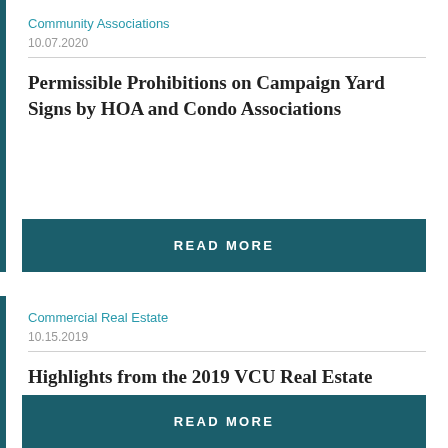Community Associations
10.07.2020
Permissible Prohibitions on Campaign Yard Signs by HOA and Condo Associations
READ MORE
Commercial Real Estate
10.15.2019
Highlights from the 2019 VCU Real Estate Trends Conference in Richmond, Virginia
READ MORE